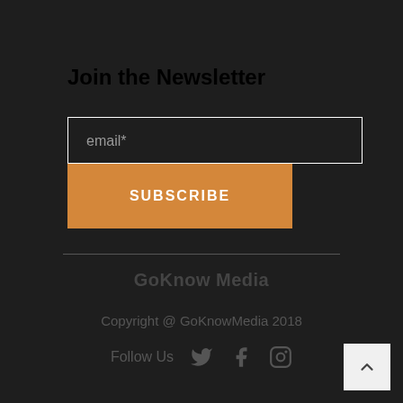Join the Newsletter
email*
SUBSCRIBE
GoKnow Media
Copyright @ GoKnowMedia 2018
Follow Us
[Figure (other): Back to top arrow button]